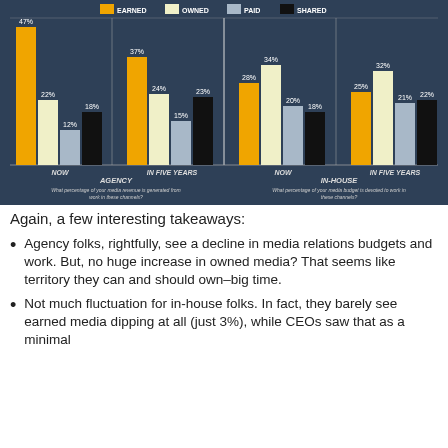[Figure (grouped-bar-chart): Agency vs In-House Media Channel Allocation]
Again, a few interesting takeaways:
Agency folks, rightfully, see a decline in media relations budgets and work. But, no huge increase in owned media? That seems like territory they can and should own–big time.
Not much fluctuation for in-house folks. In fact, they barely see earned media dipping at all (just 3%), while CEOs saw that as a minimal